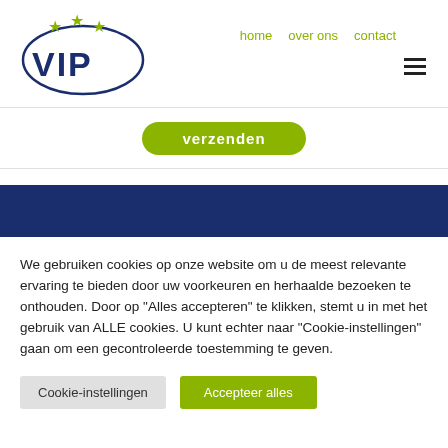[Figure (logo): VIP logo with blue oval border and three yellow-green stars above the text VIP in bold blue letters]
home   over ons   contact
[Figure (other): Hamburger menu icon (three horizontal lines)]
Verzenden
[Figure (other): Dark blue horizontal bar]
We gebruiken cookies op onze website om u de meest relevante ervaring te bieden door uw voorkeuren en herhaalde bezoeken te onthouden. Door op "Alles accepteren" te klikken, stemt u in met het gebruik van ALLE cookies. U kunt echter naar "Cookie-instellingen" gaan om een gecontroleerde toestemming te geven.
Cookie-instellingen
Accepteer alles